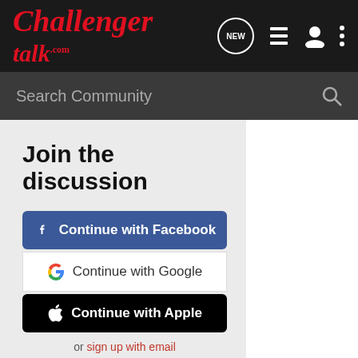ChallengerTalk.com — navigation bar with NEW, list, user, and menu icons
Search Community
Join the discussion
Continue with Facebook
Continue with Google
Continue with Apple
or sign up with email
More in Showcase